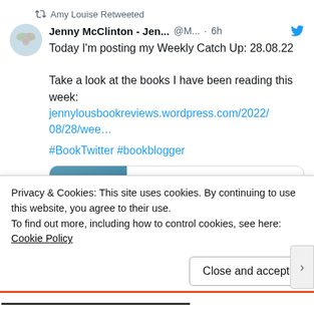Amy Louise Retweeted
Jenny McClinton - Jen... @M... · 6h
Today I'm posting my Weekly Catch Up: 28.08.22
Take a look at the books I have been reading this week: jennylousbookreviews.wordpress.com/2022/08/28/wee...
#BookTwitter #bookblogger
[Figure (screenshot): Link preview card showing book cover of 'The Beloved Girls' with text: jennylousbookreviews.w... Weekly Catch Up: 28.08.22]
Privacy & Cookies: This site uses cookies. By continuing to use this website, you agree to their use.
To find out more, including how to control cookies, see here: Cookie Policy
Close and accept